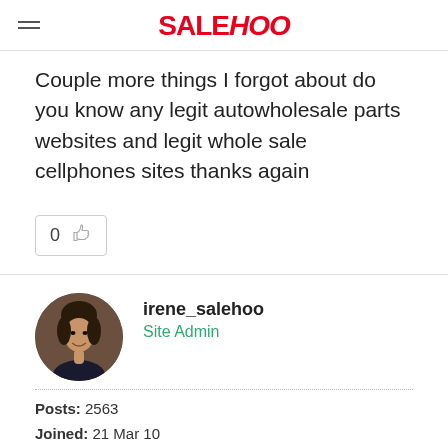SALEHOO
Couple more things I forgot about do you know any legit autowholesale parts websites and legit whole sale cellphones sites thanks again
[Figure (other): Like/upvote button with count 0 and thumbs up icon]
irene_salehoo
Site Admin
Posts: 2563
Joined: 21 Mar 10
Karma: